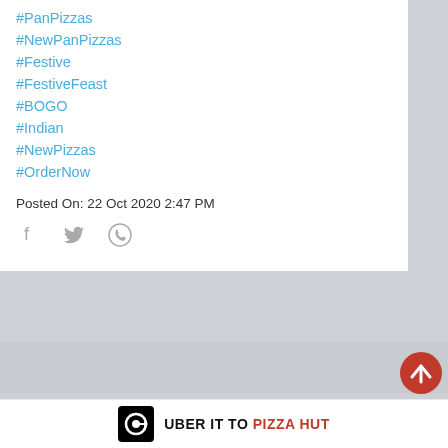#PanPizzas
#NewPanPizzas
#Festive
#FestiveFeast
#BOGO
#Indian
#NewPizzas
#OrderNow
Posted On: 22 Oct 2020 2:47 PM
[Figure (other): Social share icons: Facebook, Twitter, WhatsApp]
Enjoy the 9 days of with our delicious All-New VEG flavours! 🌿 100% Veg, 100% Ultimate-in-Satisfaction! ☺ So, order tonight 🍕🍕
#Navratri
#UltimatePanSatisfaction
[Figure (logo): Uber Eats logo with text: UBER IT TO PIZZA HUT (Pizza Hut in red)]